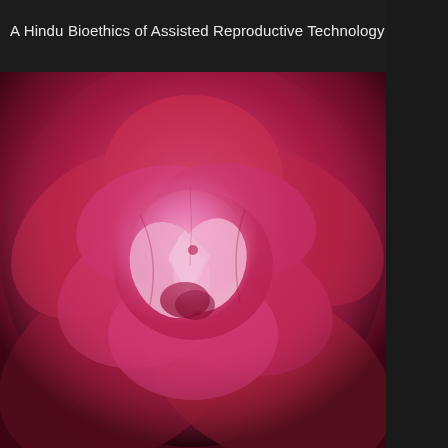A Hindu Bioethics of Assisted Reproductive Technology
[Figure (photo): Close-up photograph of a pink/magenta rose with layered petals, set against a dark background. The rose fills most of the image area with a glowing, deep pink color. The center of the rose shows lighter pink and white petals.]